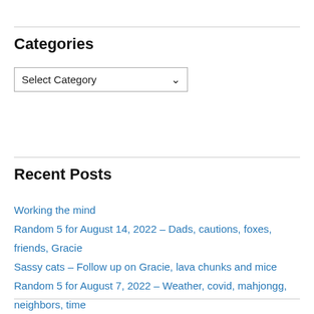Categories
[Figure (screenshot): A dropdown select box with placeholder text 'Select Category' and a chevron arrow on the right.]
Recent Posts
Working the mind
Random 5 for August 14, 2022 – Dads, cautions, foxes, friends, Gracie
Sassy cats – Follow up on Gracie, lava chunks and mice
Random 5 for August 7, 2022 – Weather, covid, mahjongg, neighbors, time
Sassy cats – Vet trip coming up
Gotta love reviews
Random 5 for July 31, 2022 – Prizes, lottery, renovations, vacations, life
Sassy cats — Just pictures